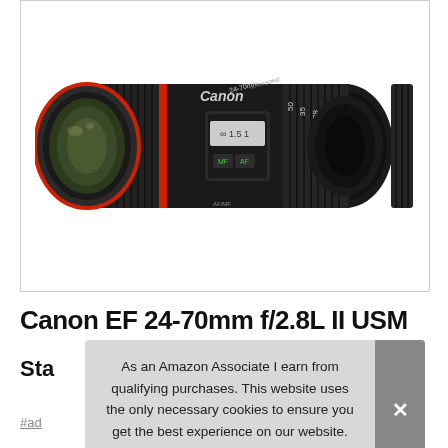[Figure (photo): Canon EF 24-70mm f/2.8L II USM camera lens, black with red ring, shown at an angle against white background, inside a bordered container]
Canon EF 24-70mm f/2.8L II USM
Sta
#ad
As an Amazon Associate I earn from qualifying purchases. This website uses the only necessary cookies to ensure you get the best experience on our website. More information